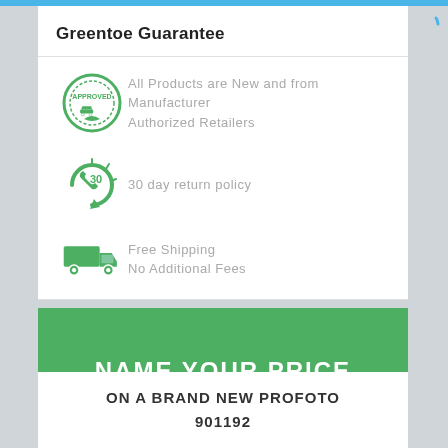Greentoe Guarantee
All Products are New and from Manufacturer Authorized Retailers
30 day return policy
Free Shipping
No Additional Fees
NAME YOUR PRICE
ON A BRAND NEW PROFOTO
901192